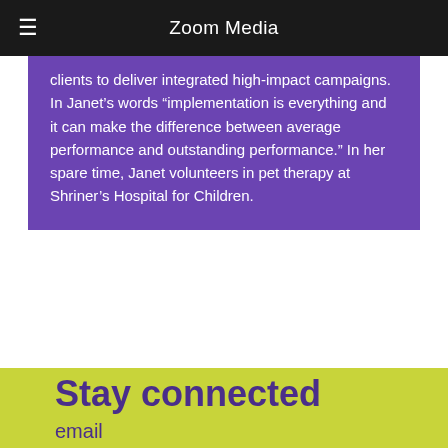Zoom Media
clients to deliver integrated high-impact campaigns. In Janet’s words “implementation is everything and it can make the difference between average performance and outstanding performance.” In her spare time, Janet volunteers in pet therapy at Shriner’s Hospital for Children.
Stay connected
email